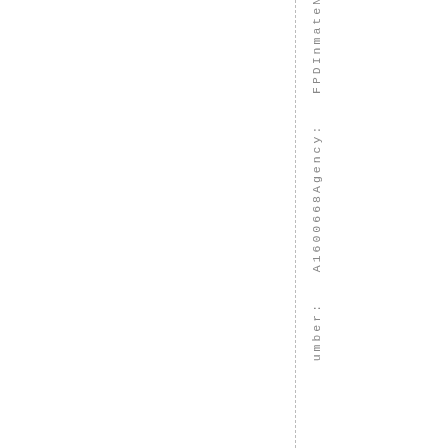umber::  A160066 8Agency:  FPDInmateN